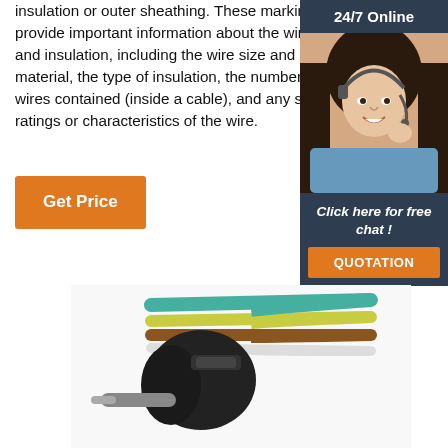insulation or outer sheathing. These markings provide important information about the wiring and insulation, including the wire size and material, the type of insulation, the number of wires contained (inside a cable), and any s... ratings or characteristics of the wire.
[Figure (illustration): Get Price orange button]
[Figure (infographic): Sidebar with 24/7 Online label, photo of woman with headset, Click here for free chat! text, and QUOTATION orange button]
[Figure (photo): Close-up photo of electrical wire connector with colored wires: teal/green, yellow, brown, and white, with a black plastic cable clamp]